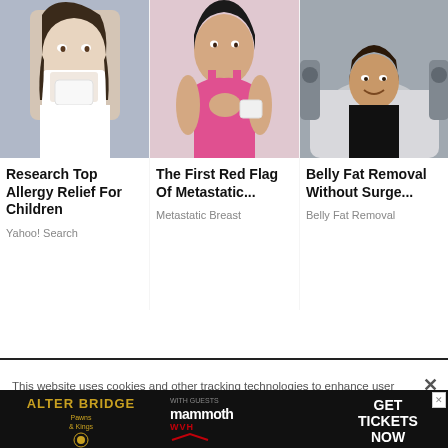[Figure (photo): Girl sneezing into tissue]
Research Top Allergy Relief For Children
Yahoo! Search
[Figure (photo): Woman in pink sports bra holding chest area]
The First Red Flag Of Metastatic...
Metastatic Breast
[Figure (photo): Person lying in medical chair smiling]
Belly Fat Removal Without Surge...
Belly Fat Removal
This website uses cookies and other tracking technologies to enhance user experience and to analyze performance and traffic on our website. Information about your use of our site may also be shared with social media, advertising, retail and analytics providers and partners. Privacy Policy
[Figure (screenshot): Alter Bridge concert advertisement with mammoth WVH guests, Get Tickets Now]